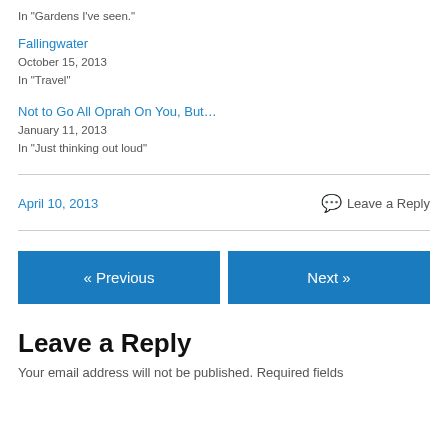In "Gardens I've seen."
Fallingwater
October 15, 2013
In "Travel"
Not to Go All Oprah On You, But…
January 11, 2013
In "Just thinking out loud"
April 10, 2013
Leave a Reply
« Previous
Next »
Leave a Reply
Your email address will not be published. Required fields